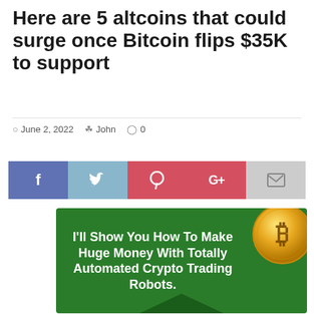Here are 5 altcoins that could surge once Bitcoin flips $35K to support
June 2, 2022  John  0
[Figure (infographic): Social sharing buttons: Facebook (f), Twitter (bird), Pinterest (p), Google+ (G+), Email (envelope)]
[Figure (infographic): Green advertisement banner: I'll Show You How To Make Huge Money With Totally Automated Crypto Trading Robots. With Bitcoin gold coin logo in corner.]